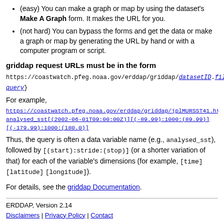(easy) You can make a graph or map by using the dataset's Make A Graph form. It makes the URL for you.
(not hard) You can bypass the forms and get the data or make a graph or map by generating the URL by hand or with a computer program or script.
griddap request URLs must be in the form
https://coastwatch.pfeg.noaa.gov/erddap/griddap/datasetID.fileType-query}
For example,
https://coastwatch.pfeg.noaa.gov/erddap/griddap/jplMURSST41.htmlTab analysed_sst[(2002-06-01T09:00:00Z)][(-89.99):1000:(89.99)][(-179.99):1000:(180.0)]
Thus, the query is often a data variable name (e.g., analysed_sst), followed by [(start):stride:(stop)] (or a shorter variation of that) for each of the variable's dimensions (for example, [time][latitude][longitude]).
For details, see the griddap Documentation.
ERDDAP, Version 2.14
Disclaimers | Privacy Policy | Contact